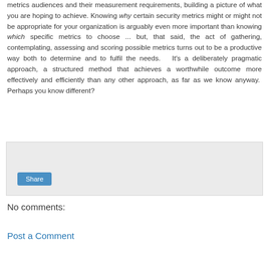metrics audiences and their measurement requirements, building a picture of what you are hoping to achieve. Knowing why certain security metrics might or might not be appropriate for your organization is arguably even more important than knowing which specific metrics to choose ... but, that said, the act of gathering, contemplating, assessing and scoring possible metrics turns out to be a productive way both to determine and to fulfil the needs.  It's a deliberately pragmatic approach, a structured method that achieves a worthwhile outcome more effectively and efficiently than any other approach, as far as we know anyway.  Perhaps you know different?
[Figure (other): Share button widget on a light grey background panel]
No comments:
Post a Comment